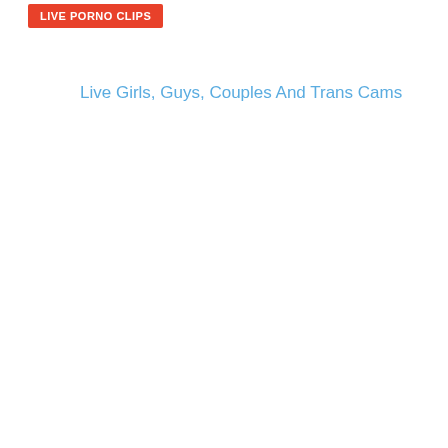LIVE PORNO CLIPS
Live Girls, Guys, Couples And Trans Cams